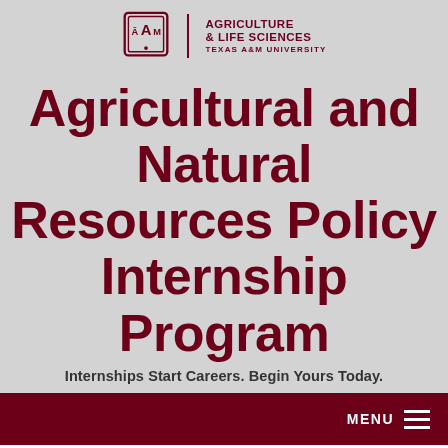[Figure (logo): Texas A&M University Agriculture & Life Sciences logo with ATM emblem and vertical divider]
Agricultural and Natural Resources Policy Internship Program
Internships Start Careers. Begin Yours Today.
MENU
District vs. D.C.